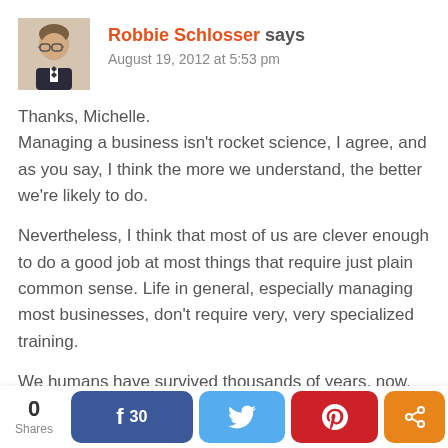[Figure (photo): Avatar photo of Robbie Schlosser, a man in a suit with bow tie]
Robbie Schlosser says
August 19, 2012 at 5:53 pm
Thanks, Michelle.
Managing a business isn't rocket science, I agree, and as you say, I think the more we understand, the better we're likely to do.
Nevertheless, I think that most of us are clever enough to do a good job at most things that require just plain common sense. Life in general, especially managing most businesses, don't require very, very specialized training.
We humans have survived thousands of years, now, despite having no Operator's Manual.
Reply